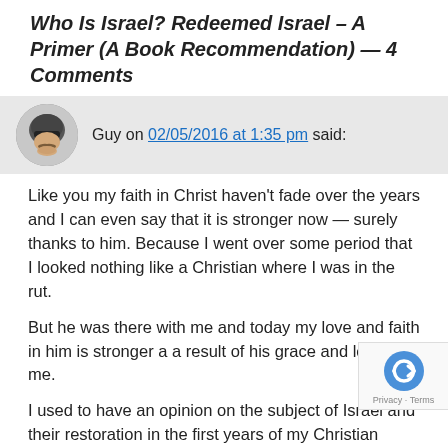Who Is Israel? Redeemed Israel – A Primer (A Book Recommendation) — 4 Comments
Guy on 02/05/2016 at 1:35 pm said:
Like you my faith in Christ haven't fade over the years and I can even say that it is stronger now — surely thanks to him. Because I went over some period that I looked nothing like a Christian where I was in the rut.
But he was there with me and today my love and faith in him is stronger a a result of his grace and love for me.
I used to have an opinion on the subject of Israel and their restoration in the first years of my Christian walk. But I realized over the years that I had a lot of misconceptions on many subjects regarding the whole thing.
What used to be strong convictions in different subjects are not anymore. I guess that everything that can be shaken will be shaken and only what's unshakable will remain the end.
I'm not sure I understand fully the subject of the article but it